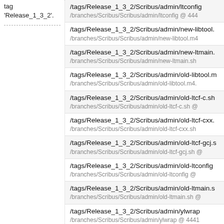tag 'Release_1_3_2'.
/tags/Release_1_3_2/Scribus/admin/ltconfig
/branches/Scribus/Scribus/admin/ltconfig @ 444
/tags/Release_1_3_2/Scribus/admin/new-libtool.
/branches/Scribus/Scribus/admin/new-libtool.m4
/tags/Release_1_3_2/Scribus/admin/new-ltmain.
/branches/Scribus/Scribus/admin/new-ltmain.sh
/tags/Release_1_3_2/Scribus/admin/old-libtool.m
/branches/Scribus/Scribus/admin/old-libtool.m4.
/tags/Release_1_3_2/Scribus/admin/old-ltcf-c.sh
/branches/Scribus/Scribus/admin/old-ltcf-c.sh @
/tags/Release_1_3_2/Scribus/admin/old-ltcf-cxx.
/branches/Scribus/Scribus/admin/old-ltcf-cxx.sh
/tags/Release_1_3_2/Scribus/admin/old-ltcf-gcj.s
/branches/Scribus/Scribus/admin/old-ltcf-gcj.sh @
/tags/Release_1_3_2/Scribus/admin/old-ltconfig
/branches/Scribus/Scribus/admin/old-ltconfig @
/tags/Release_1_3_2/Scribus/admin/old-ltmain.s
/branches/Scribus/Scribus/admin/old-ltmain.sh @
/tags/Release_1_3_2/Scribus/admin/ylwrap
/branches/Scribus/Scribus/admin/ylwrap @ 4441
/tags/Release_1_3_2/Scribus/CVSROOT/
/trunk/Scribus/CVSROOT @ 4441 (Prev)
/tags/Release_1_3_2/Scribus/scribus.kdevprj
/trunk/Scribus/scribus.kdevprj @ 4441 (Prev)
/tags/Release_1_3_2/Scribus/scribus/.directory
/branches/Scribus/Scribus/scribus/.directory